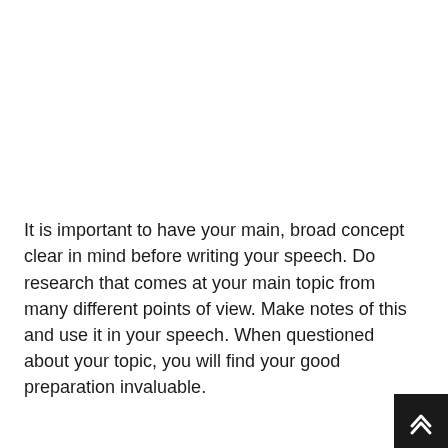It is important to have your main, broad concept clear in mind before writing your speech. Do research that comes at your main topic from many different points of view. Make notes of this and use it in your speech. When questioned about your topic, you will find your good preparation invaluable.